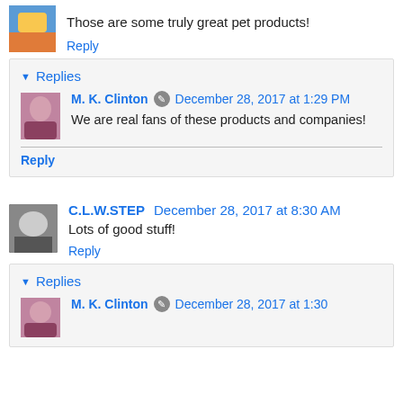Those are some truly great pet products!
Reply
Replies
M. K. Clinton  December 28, 2017 at 1:29 PM
We are real fans of these products and companies!
Reply
C.L.W.STEP  December 28, 2017 at 8:30 AM
Lots of good stuff!
Reply
Replies
M. K. Clinton  December 28, 2017 at 1:30